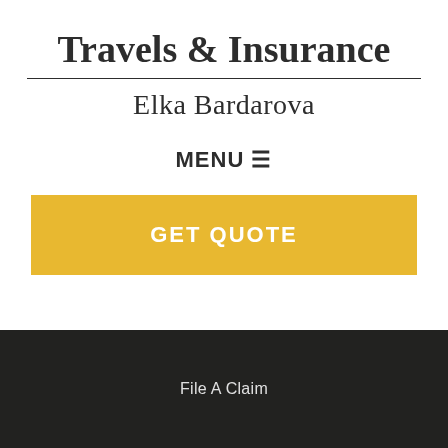Travels & Insurance
Elka Bardarova
MENU ☰
GET QUOTE
File A Claim